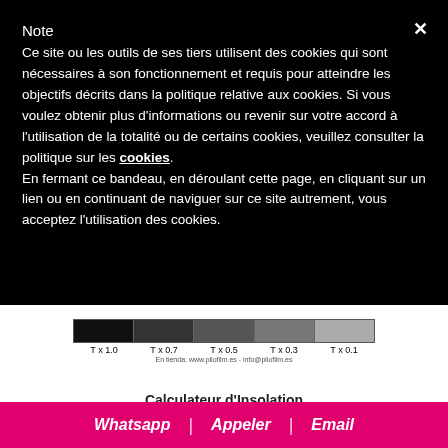Note
Ce site ou les outils de ses tiers utilisent des cookies qui sont nécessaires à son fonctionnement et requis pour atteindre les objectifs décrits dans la politique relative aux cookies. Si vous voulez obtenir plus d'informations ou revenir sur votre accord à l'utilisation de la totalité ou de certains cookies, veuillez consulter la politique sur les cookies. En fermant ce bandeau, en déroulant cette page, en cliquant sur un lien ou en continuant de naviguer sur ce site autrement, vous acceptez l'utilisation des cookies.
[Figure (illustration): A color scale bar showing transparency levels labeled T x 1.0, T x 0.07, T x 0.5, T x 0.03, T x 0.1 from left to right, with a small caption below.]
Calculateur d'Insolation
Whatsapp | Appeler | Email